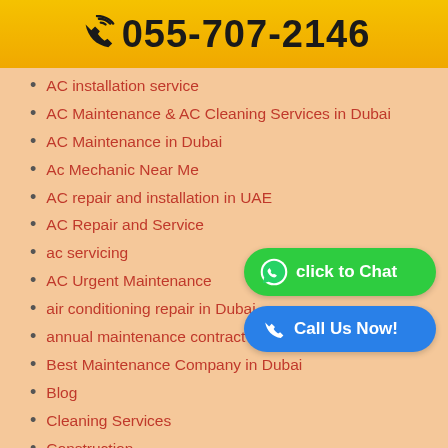055-707-2146
AC installation service
AC Maintenance & AC Cleaning Services in Dubai
AC Maintenance in Dubai
Ac Mechanic Near Me
AC repair and installation in UAE
AC Repair and Service
ac servicing
AC Urgent Maintenance
air conditioning repair in Dubai
annual maintenance contract in Dubai
Best Maintenance Company in Dubai
Blog
Cleaning Services
Construction
Drainage repair
Emergency AC repair Dubai
Emergency Ac Repair in Dubai
General Information
gypsum partition work
Handymen services
[Figure (infographic): Green WhatsApp button 'click to Chat' and blue phone button 'Call Us Now!']